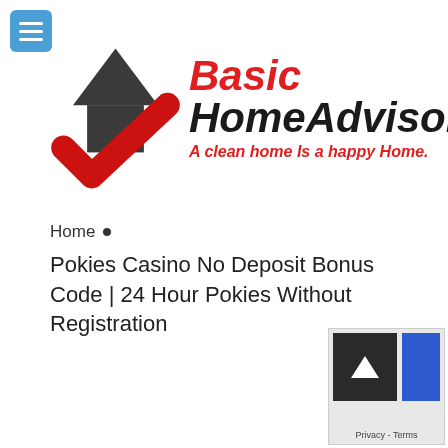[Figure (logo): Basic HomeAdvisor logo with house icon and red checkmark, tagline: A clean home Is a happy Home.]
Home •
Pokies Casino No Deposit Bonus Code | 24 Hour Pokies Without Registration
[Figure (other): Scroll to top button and reCAPTCHA widget with Privacy - Terms text]